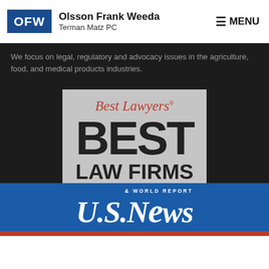[Figure (logo): OFW logo box with blue background and white text 'OFW', next to firm name 'Olsson Frank Weeda Terman Matz PC']
We focus on legal, regulatory and advocacy issues in the agriculture, food, and medical products industries.
[Figure (illustration): Best Lawyers Best Law Firms badge/award image with U.S. News & World Report ribbon at the bottom]